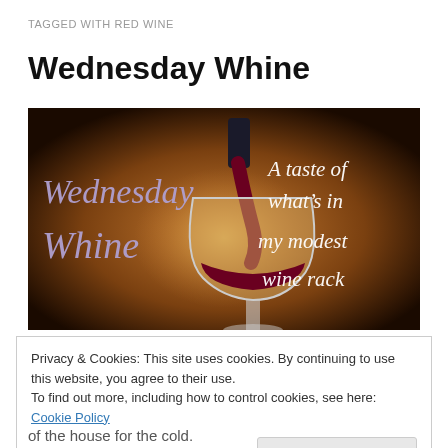TAGGED WITH RED WINE
Wednesday Whine
[Figure (illustration): Promotional banner image for 'Wednesday Whine' blog series. Dark background with a wine glass being filled with red wine. Left side has cursive text 'Wednesday Whine' in purple/lavender. Right side has italic white text 'A taste of what's in my modest wine rack'.]
Privacy & Cookies: This site uses cookies. By continuing to use this website, you agree to their use.
To find out more, including how to control cookies, see here: Cookie Policy
of the house for the cold.